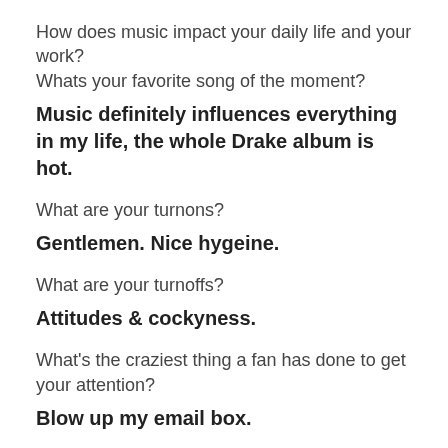How does music impact your daily life and your work? Whats your favorite song of the moment?
Music definitely influences everything in my life, the whole Drake album is hot.
What are your turnons?
Gentlemen. Nice hygeine.
What are your turnoffs?
Attitudes & cockyness.
What's the craziest thing a fan has done to get your attention?
Blow up my email box.